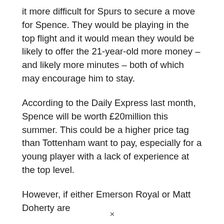it more difficult for Spurs to secure a move for Spence. They would be playing in the top flight and it would mean they would be likely to offer the 21-year-old more money – and likely more minutes – both of which may encourage him to stay.
According to the Daily Express last month, Spence will be worth £20million this summer. This could be a higher price tag than Tottenham want to pay, especially for a young player with a lack of experience at the top level.
However, if either Emerson Royal or Matt Doherty are